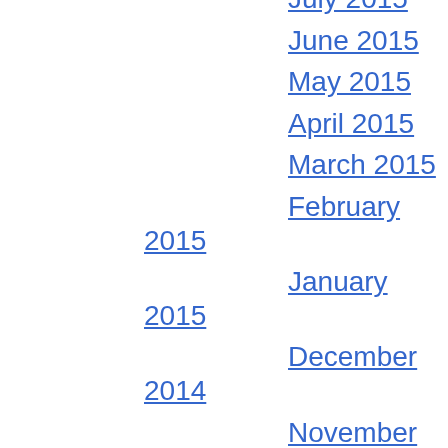July 2015
June 2015
May 2015
April 2015
March 2015
February 2015
January 2015
December 2014
November 2014
September 2014
August 2014
July 2014
May 2013